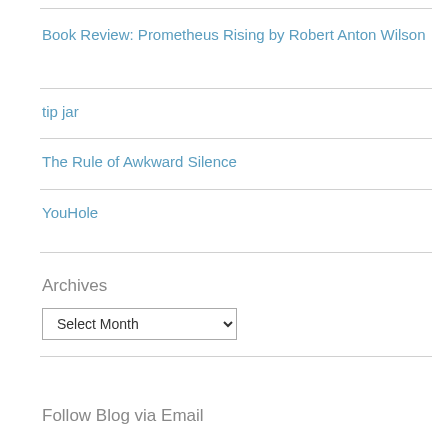Book Review: Prometheus Rising by Robert Anton Wilson
tip jar
The Rule of Awkward Silence
YouHole
Archives
Select Month
Follow Blog via Email